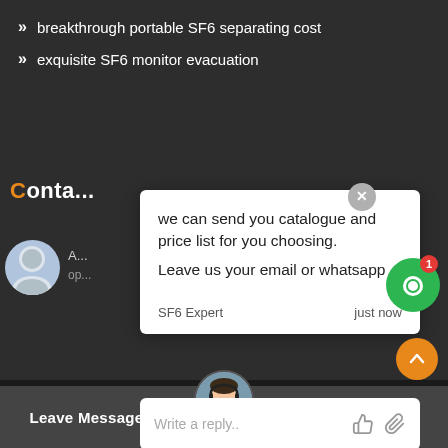breakthrough portable SF6 separating cost
exquisite SF6 monitor evacuation
Conta...
[Figure (screenshot): Chat popup with message: we can send you catalogue and price list for you choosing. Leave us your email or whatsapp. From SF6 Expert, just now. With a reply input box.]
[Figure (screenshot): Green chat bubble icon with red notification badge showing 1]
Copyright © 2020.Henan SF6Relations Co., ltd. All rights reserved. Sitemap
[Figure (screenshot): Bottom bar with Leave Message and Chat Online buttons and customer service avatar]